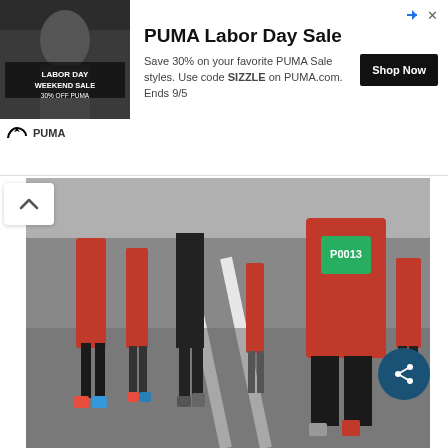[Figure (photo): PUMA Labor Day Weekend Sale advertisement banner with photo of person, PUMA logo, 'Shop Now' button, and text about 30% off sale using code SIZZLE on PUMA.com, ends 9/5]
[Figure (photo): Marathon runners on a road, legs visible, red shirts visible, white lane markings on asphalt — Borneo International Marathon]
Borneo International Marathon
The coastal road that stretches from Kota Kinabalu city to Pantai Dalit (Dalit Beach) in the north is considered the 'golden stretch' for road running and cycling. The flat, sometimes undulating landscape holds enough promise to keep participants of the annual Borneo International